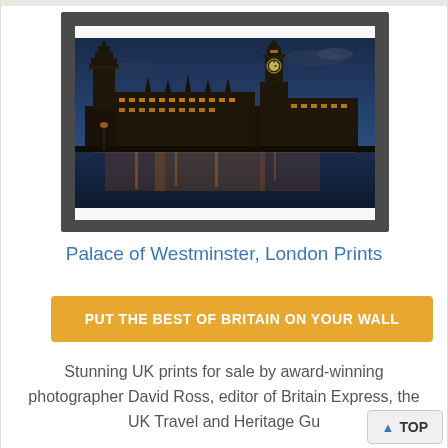[Figure (photo): Framed photograph of the Palace of Westminster and Big Ben at dusk, illuminated with golden lights reflecting on the Thames river, set against a deep blue twilight sky.]
Palace of Westminster, London Prints
PUT THE BEST OF BRITAIN ON YOUR WALL
Stunning UK prints for sale by award-winning photographer David Ross, editor of Britain Express, the UK Travel and Heritage Gu